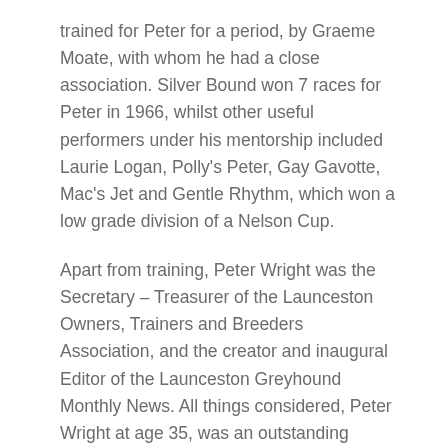trained for Peter for a period, by Graeme Moate, with whom he had a close association. Silver Bound won 7 races for Peter in 1966, whilst other useful performers under his mentorship included Laurie Logan, Polly's Peter, Gay Gavotte, Mac's Jet and Gentle Rhythm, which won a low grade division of a Nelson Cup.
Apart from training, Peter Wright was the Secretary – Treasurer of the Launceston Owners, Trainers and Breeders Association, and the creator and inaugural Editor of the Launceston Greyhound Monthly News. All things considered, Peter Wright at age 35, was an outstanding candidate for the H.G.R.C. Secretary position. A young man filled with ideas and enthusiasm was the injection required to launch the Club into a new era of prosperity.
As his seven year tenure unfolded, Wright developed a number of initiatives that proved outstandingly